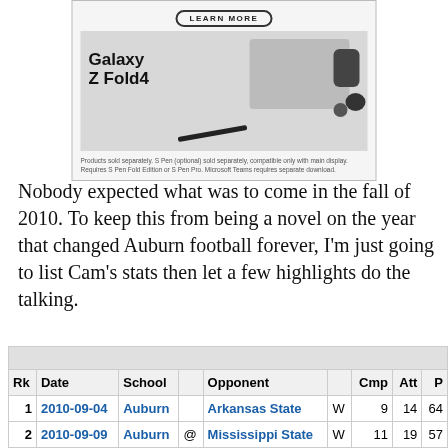[Figure (photo): Samsung Galaxy Z Fold4 advertisement with LEARN MORE button, product image showing laptop/tablet, smartwatch, and earbuds. Disclaimer text: Products sold separately. S Pen (optional) sold separately, compatible only with main display. Requires S Pen Fold Edition or S Pen Pro. Microsoft Teams requires separate download.]
Nobody expected what was to come in the fall of 2010. To keep this from being a novel on the year that changed Auburn football forever, I'm just going to list Cam's stats then let a few highlights do the talking.
| Rk | Date | School |  | Opponent |  | Cmp | Att | P |
| --- | --- | --- | --- | --- | --- | --- | --- | --- |
| 1 | 2010-09-04 | Auburn |  | Arkansas State | W | 9 | 14 | 64 |
| 2 | 2010-09-09 | Auburn | @ | Mississippi State | W | 11 | 19 | 57 |
| 3 | 2010-09-18 | Auburn |  | Clemson | W | 7 | 14 | 50 |